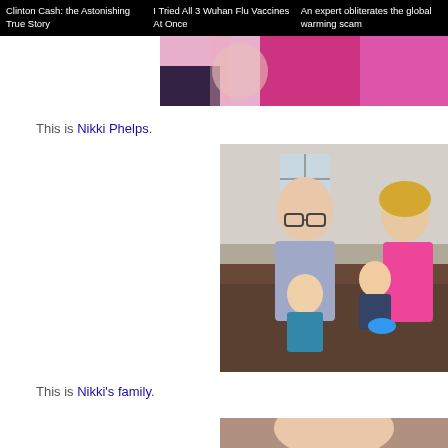Clinton Cash: the Astonishing True Story | I Tried All 3 Wuhan Flu Vaccines At Once | An expert obliterates the global warming scam
[Figure (photo): Partial photo of a person in pink/magenta clothing, cropped at top of page]
This is Nikki Phelps.
[Figure (photo): Family photo showing a bald man with glasses, a woman with short blonde hair in pink top, and two young toddler boys sitting on a couch]
This is Nikki's family.
[Figure (photo): Bottom partial photo, cropped, showing person's lower body area]